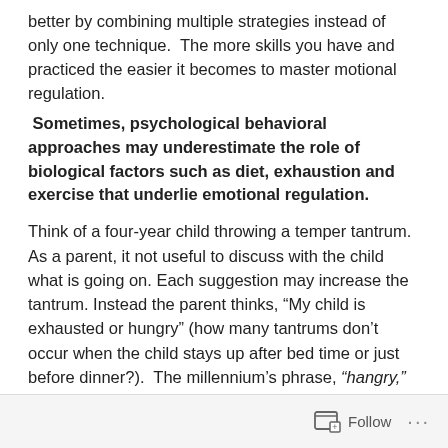better by combining multiple strategies instead of only one technique.  The more skills you have and practiced the easier it becomes to master motional regulation.
Sometimes, psychological behavioral approaches may underestimate the role of biological factors such as diet, exhaustion and exercise that underlie emotional regulation.
Think of a four-year child throwing a temper tantrum. As a parent, it not useful to discuss with the child what is going on. Each suggestion may increase the tantrum. Instead the parent thinks, “My child is exhausted or hungry” (how many tantrums don’t occur when the child stays up after bed time or just before dinner?).  The millennium’s phrase, “hangry,” is the combination of hunger and anger.
Follow